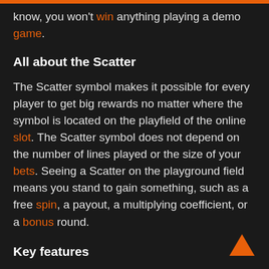know, you won't win anything playing a demo game.
All about the Scatter
The Scatter symbol makes it possible for every player to get big rewards no matter where the symbol is located on the playfield of the online slot. The Scatter symbol does not depend on the number of lines played or the size of your bets. Seeing a Scatter on the playground field means you stand to gain something, such as a free spin, a payout, a multiplying coefficient, or a bonus round.
Key features
The Scatter offers players additional opportunities to make money and multiply their winnings. Even if they don't line up on the same line, the symbols are successful. Free spins are the biggest attraction of this special symbol. Free spins allow players to keep enjoying the game without investing any funds. If you're